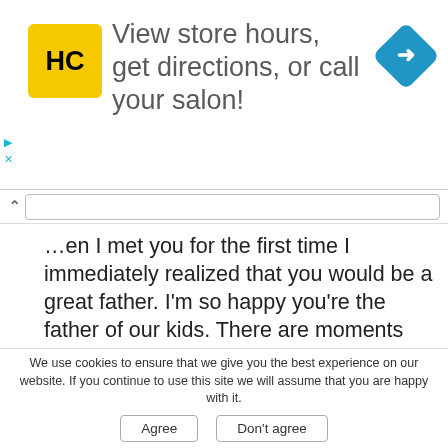[Figure (other): Advertisement banner: HC logo (yellow square with HC text), heading 'View store hours, get directions, or call your salon!', blue diamond navigation icon, with play and X control buttons on left side.]
...en I met you for the first time I immediately realized that you would be a great father. I'm so happy you're the father of our kids. There are moments when I'm about to give up, but you always know how to act. We all love and appreciate you. Happy Father's day, my beloved husband!
***
Dad, you are like a shelter from storms of life,
We use cookies to ensure that we give you the best experience on our website. If you continue to use this site we will assume that you are happy with it.
Agree   Don't agree